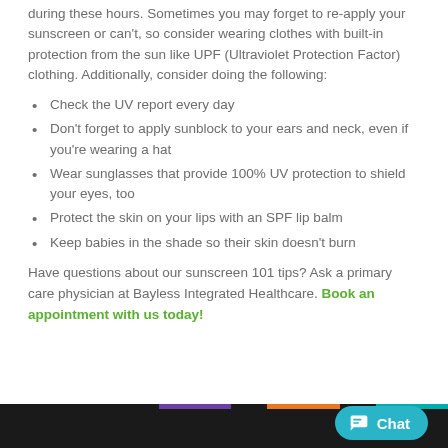during these hours. Sometimes you may forget to re-apply your sunscreen or can't, so consider wearing clothes with built-in protection from the sun like UPF (Ultraviolet Protection Factor) clothing. Additionally, consider doing the following:
Check the UV report every day
Don't forget to apply sunblock to your ears and neck, even if you're wearing a hat
Wear sunglasses that provide 100% UV protection to shield your eyes, too
Protect the skin on your lips with an SPF lip balm
Keep babies in the shade so their skin doesn't burn
Have questions about our sunscreen 101 tips? Ask a primary care physician at Bayless Integrated Healthcare. Book an appointment with us today!
Chat